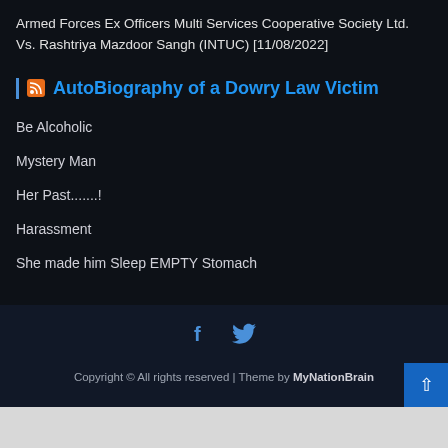Armed Forces Ex Officers Multi Services Cooperative Society Ltd. Vs. Rashtriya Mazdoor Sangh (INTUC) [11/08/2022]
AutoBiography of a Dowry Law Victim
Be Alcoholic
Mystery Man
Her Past.......!
Harassment
She made him Sleep EMPTY Stomach
Copyright © All rights reserved | Theme by MyNationBrain